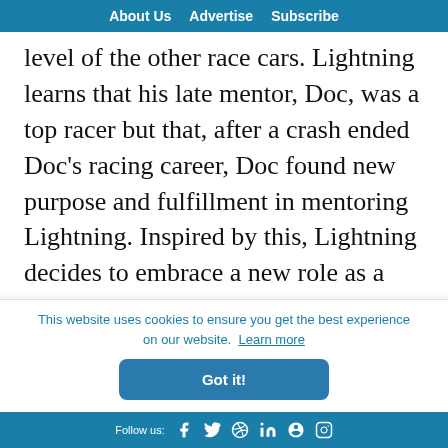About Us   Advertise   Subscribe
level of the other race cars. Lightning learns that his late mentor, Doc, was a top racer but that, after a crash ended Doc’s racing career, Doc found new purpose and fulfillment in mentoring Lightning. Inspired by this, Lightning decides to embrace a new role as a mentor for Cruz. He finds fulfillment in helping her reach her dream.
This website uses cookies to ensure you get the best experience on our website. Learn more
Got it!
Follow us: